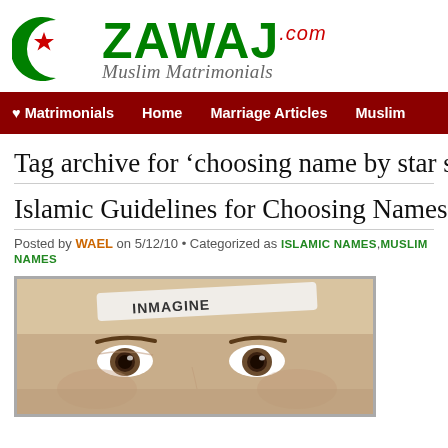[Figure (logo): Zawaj.com Muslim Matrimonials logo with green crescent moon and red star, green ZAWAJ text with .com in red italic, subtitle Muslim Matrimonials in italic gray]
♥ Matrimonials   Home   Marriage Articles   Muslim
Tag archive for 'choosing name by star s
Islamic Guidelines for Choosing Names
Posted by WAEL on 5/12/10 • Categorized as ISLAMIC NAMES,MUSLIM NAMES
[Figure (photo): Close-up photo of a child's face focusing on eyes, with a headband reading INMAGINE]